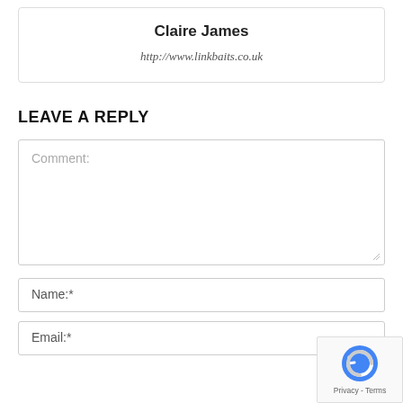Claire James
http://www.linkbaits.co.uk
LEAVE A REPLY
Comment:
Name:*
Email:*